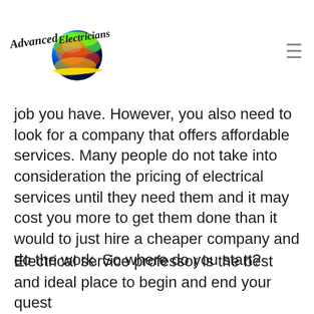[Figure (logo): Advanced Electricians logo with colorful globe and stylized script text]
job you have. However, you also need to look for a company that offers affordable services. Many people do not take into consideration the pricing of electrical services until they need them and it may cost you more to get them done than it would to just hire a cheaper company and do the work. So where do you start?
Electrical service professor is the best and ideal place to begin and end your quest